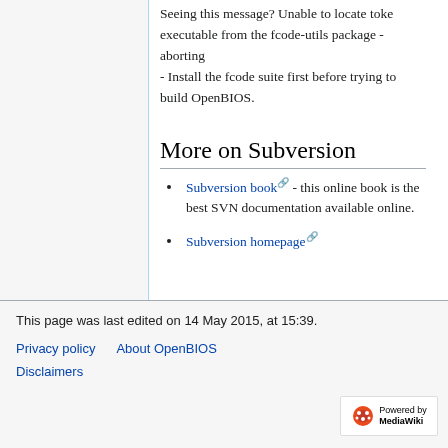Seeing this message? Unable to locate toke executable from the fcode-utils package - aborting
- Install the fcode suite first before trying to build OpenBIOS.
More on Subversion
Subversion book - this online book is the best SVN documentation available online.
Subversion homepage
This page was last edited on 14 May 2015, at 15:39.
Privacy policy   About OpenBIOS
Disclaimers